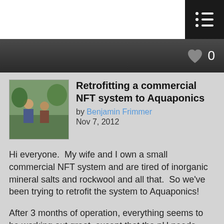Retrofitting a commercial NFT system to Aquaponics — by Benjamin Frimmer, Nov 7, 2012
Retrofitting a commercial NFT system to Aquaponics
by Benjamin Frimmer
Nov 7, 2012
Hi everyone.  My wife and I own a small commercial NFT system and are tired of inorganic mineral salts and rockwool and all that.  So we've been trying to retrofit the system to Aquaponics!
After 3 months of operation, everything seems to be working out great, except that the pH needs buffering 2x a week, and I have to clean our 100 micron in-line filter DAILY.  We have no interest in selling the fish, so we tried to use as few fish as possible.  We use organic nutes (safe for fish) to feed the plants the difference the fish